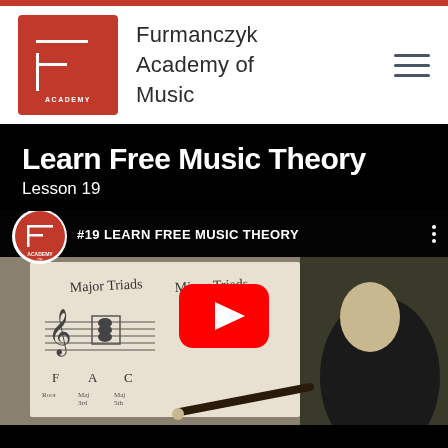[Figure (logo): Furmanczyk Academy of Music logo - red square with stylized F and word ACADEMY at bottom]
Furmanczyk Academy of Music
Learn Free Music Theory
Lesson 19
[Figure (screenshot): YouTube video thumbnail showing #19 LEARN FREE MUSIC THEORY - man in black jacket pointing at whiteboard with Major Triads and Minor Triads written on it, with YouTube play button overlay]